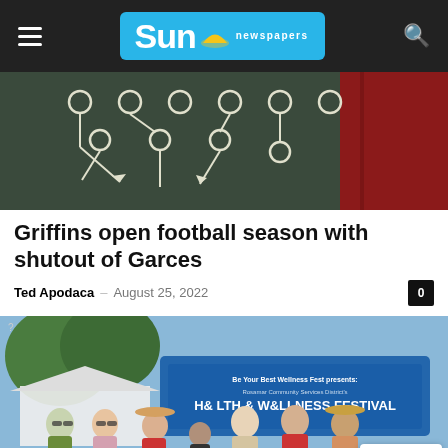Sun newspapers
[Figure (photo): A chalkboard with football play diagrams drawn in white chalk, and a red football visible on the right side.]
Griffins open football season with shutout of Garces
Ted Apodaca – August 25, 2022
[Figure (photo): A group of women posing outdoors in front of a banner reading 'Be Your Best Wellness Fest presents: Rosamar Community Services District's Health & Wellness Festival'.]